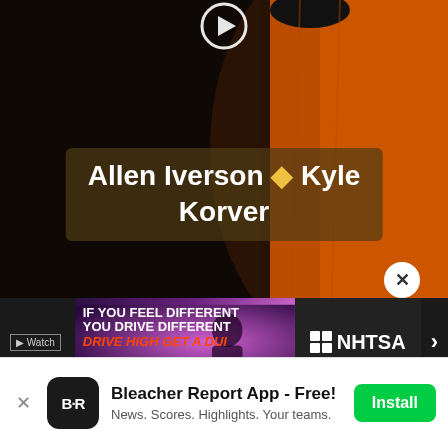[Figure (screenshot): Video screenshot showing a person in an orange basketball jersey with a dark blurred background. A play button icon is visible at the top center. A semi-transparent brown text overlay reads 'Allen Iverson ♦ Kyle Korver'. A circular close button with X is visible. Below the video is an NHTSA advertisement banner reading 'IF YOU FEEL DIFFERENT YOU DRIVE DIFFERENT DRIVE HIGH GET A DUI'. A watch button is on the left of the ad bar.]
Allen Iverson ♦ Kyle Korver
Bleacher Report App - Free!
News. Scores. Highlights. Your teams.